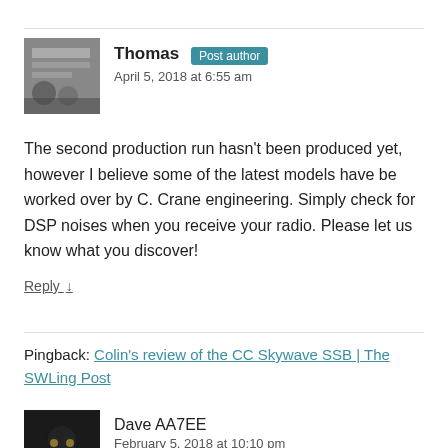Thomas Post author
April 5, 2018 at 6:55 am
The second production run hasn't been produced yet, however I believe some of the latest models have be worked over by C. Crane engineering. Simply check for DSP noises when you receive your radio. Please let us know what you discover!
Reply ↓
Pingback: Colin's review of the CC Skywave SSB | The SWLing Post
Dave AA7EE
February 5, 2018 at 10:10 pm